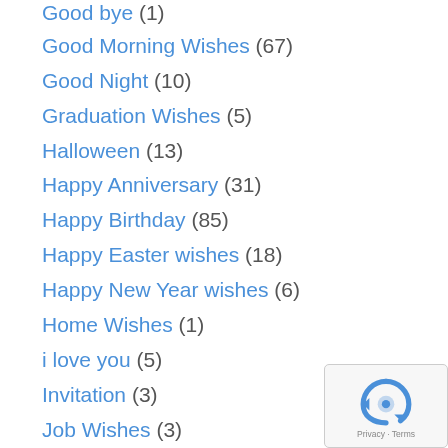Good bye (1)
Good Morning Wishes (67)
Good Night (10)
Graduation Wishes (5)
Halloween (13)
Happy Anniversary (31)
Happy Birthday (85)
Happy Easter wishes (18)
Happy New Year wishes (6)
Home Wishes (1)
i love you (5)
Invitation (3)
Job Wishes (3)
Labor Day (10)
Love Quotes (1)
Monday Wishes (?)